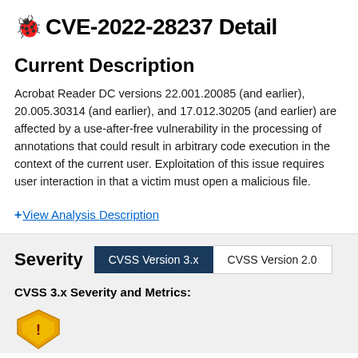CVE-2022-28237 Detail
Current Description
Acrobat Reader DC versions 22.001.20085 (and earlier), 20.005.30314 (and earlier), and 17.012.30205 (and earlier) are affected by a use-after-free vulnerability in the processing of annotations that could result in arbitrary code execution in the context of the current user. Exploitation of this issue requires user interaction in that a victim must open a malicious file.
+ View Analysis Description
Severity
CVSS 3.x Severity and Metrics: